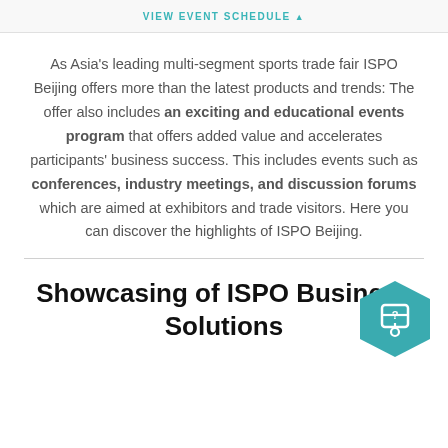VIEW EVENT SCHEDULE ▲
As Asia's leading multi-segment sports trade fair ISPO Beijing offers more than the latest products and trends: The offer also includes an exciting and educational events program that offers added value and accelerates participants' business success. This includes events such as conferences, industry meetings, and discussion forums which are aimed at exhibitors and trade visitors. Here you can discover the highlights of ISPO Beijing.
Showcasing of ISPO Business Solutions